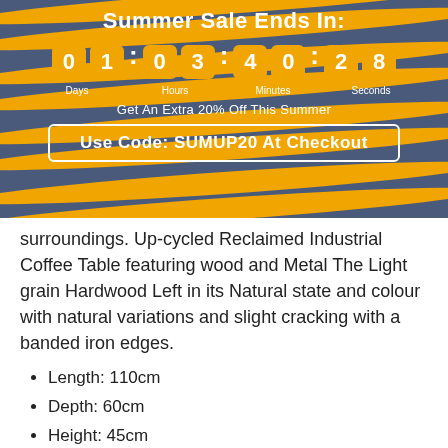Summer Sale Ends In:
[Figure (infographic): Countdown timer showing 01 Days, 03 Hours, 40 Minutes, 28 Seconds with orange digit boxes on a dark blue wavy-striped background]
Get An Extra 20% Off This Summer
Use Code: SUMUP20 At Checkout
surroundings. Up-cycled Reclaimed Industrial Coffee Table featuring wood and Metal The Light grain Hardwood Left in its Natural state and colour with natural variations and slight cracking with a banded iron edges.
Length: 110cm
Depth: 60cm
Height: 45cm
Industrial Style Reclaimed
Partial Assembly required